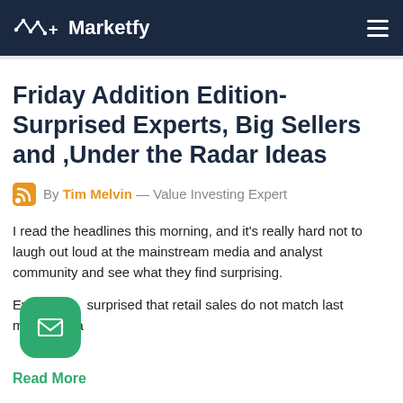Marketfy
Friday Addition Edition- Surprised Experts, Big Sellers and ,Under the Radar Ideas
By Tim Melvin — Value Investing Expert
I read the headlines this morning, and it's really hard not to laugh out loud at the mainstream media and analyst community and see what they find surprising.
Everyone is surprised that retail sales do not match last month's. Sa...
Read More